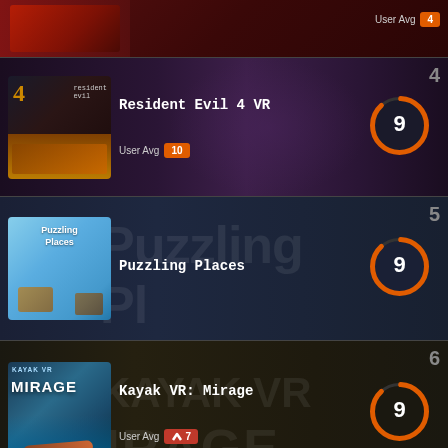[Figure (screenshot): Top partial card showing a game (rank 4 partial) with User Avg badge showing 4]
User Avg 4
[Figure (screenshot): Resident Evil 4 VR game card, rank 4, score 9, User Avg 10]
Resident Evil 4 VR
User Avg 10
[Figure (screenshot): Puzzling Places game card, rank 5, score 9]
Puzzling Places
[Figure (screenshot): Kayak VR: Mirage game card, rank 6, score 9, User Avg 7]
Kayak VR: Mirage
User Avg 7
[Figure (screenshot): Space Pirate Trainer partial card, rank 7]
Space Pirate Trainer